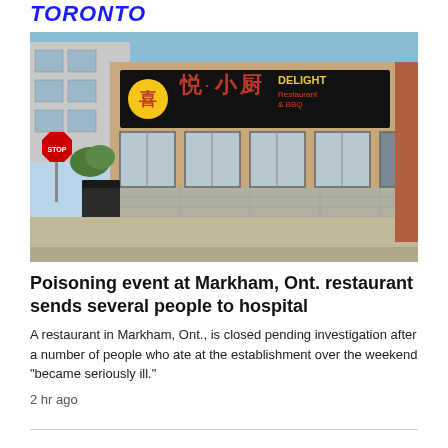TORONTO
[Figure (photo): Exterior photo of Delight Restaurant & BBQ in Markham, Ontario. The building has a large black sign with Chinese characters and the text 'DELIGHT Restaurant & BBQ' in red/yellow. A STOP sign is visible on the left, and the building has large windows with brick and stone facade.]
Poisoning event at Markham, Ont. restaurant sends several people to hospital
A restaurant in Markham, Ont., is closed pending investigation after a number of people who ate at the establishment over the weekend "became seriously ill."
2 hr ago